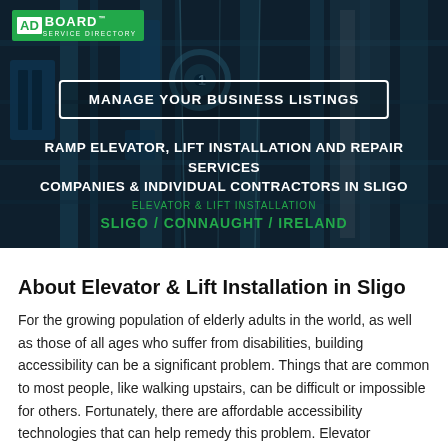[Figure (photo): Hero banner with elevator/lift machinery background (blue metallic mechanical components), with AdBoard logo, a 'Manage Your Business Listings' button, and headline text overlay.]
About Elevator & Lift Installation in Sligo
For the growing population of elderly adults in the world, as well as those of all ages who suffer from disabilities, building accessibility can be a significant problem. Things that are common to most people, like walking upstairs, can be difficult or impossible for others. Fortunately, there are affordable accessibility technologies that can help remedy this problem. Elevator installation, repair services or lift installation, repair